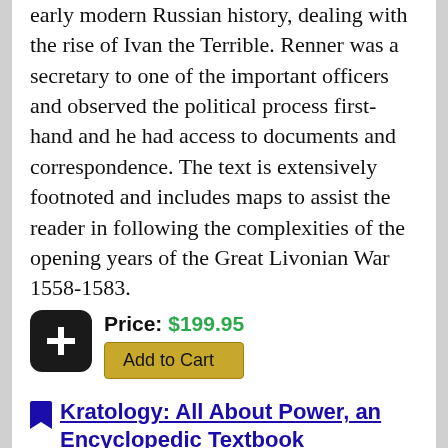early modern Russian history, dealing with the rise of Ivan the Terrible. Renner was a secretary to one of the important officers and observed the political process first-hand and he had access to documents and correspondence. The text is extensively footnoted and includes maps to assist the reader in following the complexities of the opening years of the Great Livonian War 1558-1583.
Price: $199.95
Add to Cart
Kratology: All About Power, an Encyclopedic Textbook
Khalipov, V.F.
2001 · 0-7734-3171-3 · 436 pages